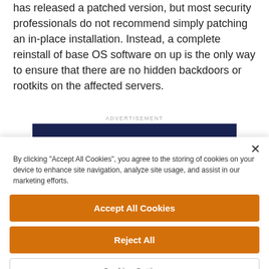has released a patched version, but most security professionals do not recommend simply patching an in-place installation. Instead, a complete reinstall of base OS software on up is the only way to ensure that there are no hidden backdoors or rootkits on the affected servers.
ADVERTISEMENT
[Figure (other): Dark navy blue advertisement banner]
× By clicking "Accept All Cookies", you agree to the storing of cookies on your device to enhance site navigation, analyze site usage, and assist in our marketing efforts.
Accept All Cookies
Reject All
Cookies Settings